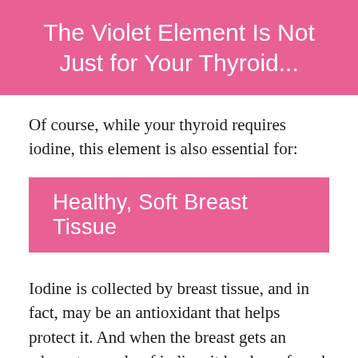The Violet Element Is Not Just for Your Thyroid...
Of course, while your thyroid requires iodine, this element is also essential for:
Healthy, Soft Breast Tissue
Iodine is collected by breast tissue, and in fact, may be an antioxidant that helps protect it. And when the breast gets an adequate supply of iodine, it has been found to help reduce